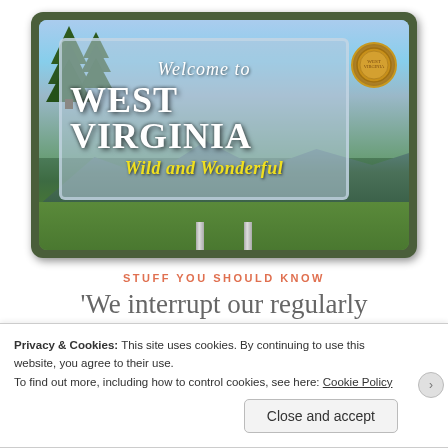[Figure (photo): Welcome to West Virginia - Wild and Wonderful roadside sign with mountain and tree background, mounted on metal poles]
STUFF YOU SHOULD KNOW
We interrupt our regularly scheduled programming...*
Privacy & Cookies: This site uses cookies. By continuing to use this website, you agree to their use.
To find out more, including how to control cookies, see here: Cookie Policy
Close and accept